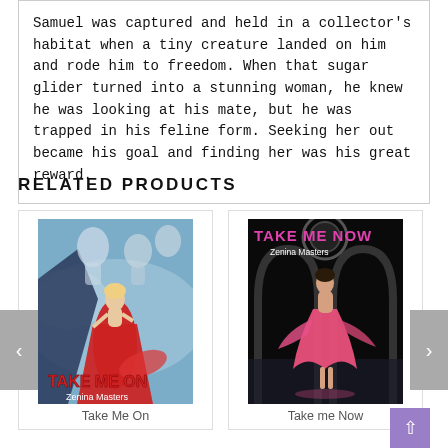Samuel was captured and held in a collector's habitat when a tiny creature landed on him and rode him to freedom. When that sugar glider turned into a stunning woman, he knew he was looking at his mate, but he was trapped in his feline form. Seeking her out became his goal and finding her was his great reward.
RELATED PRODUCTS
[Figure (illustration): Book cover for 'Take Me On' by Zenina Masters — fantasy romance cover with a woman in a red flowing dress, ghostly figures in a misty blue background]
Take Me On
[Figure (illustration): Book cover for 'Take Me Now' by Zenina Masters — dark background with a woman in a pink flowing dress, architectural arches]
Take me Now